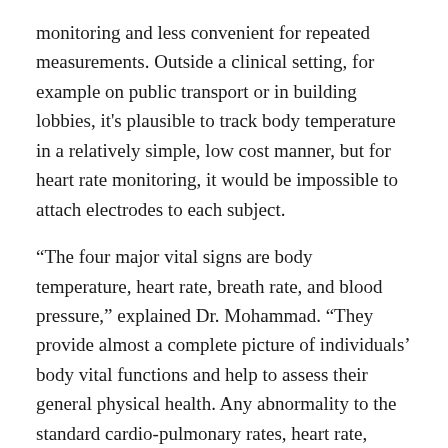monitoring and less convenient for repeated measurements. Outside a clinical setting, for example on public transport or in building lobbies, it's plausible to track body temperature in a relatively simple, low cost manner, but for heart rate monitoring, it would be impossible to attach electrodes to each subject.
“The four major vital signs are body temperature, heart rate, breath rate, and blood pressure,” explained Dr. Mohammad. “They provide almost a complete picture of individuals’ body vital functions and help to assess their general physical health. Any abnormality to the standard cardio-pulmonary rates, heart rate, breath rate and blood pressure, may indicate a sign of physical or mental stress.”
Early symptoms for Covid-19 include shortness of breath, fever, and coughing. Detection and monitoring of breath rate and heart rate usually require complex systems involving sensors and computers that are physically